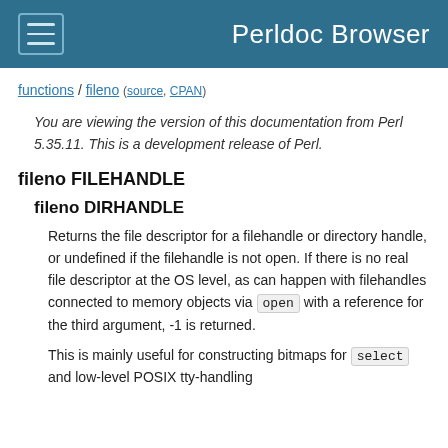Perldoc Browser
functions / fileno (source, CPAN)
You are viewing the version of this documentation from Perl 5.35.11. This is a development release of Perl.
fileno FILEHANDLE
fileno DIRHANDLE
Returns the file descriptor for a filehandle or directory handle, or undefined if the filehandle is not open. If there is no real file descriptor at the OS level, as can happen with filehandles connected to memory objects via open with a reference for the third argument, -1 is returned.
This is mainly useful for constructing bitmaps for select and low-level POSIX tty-handling